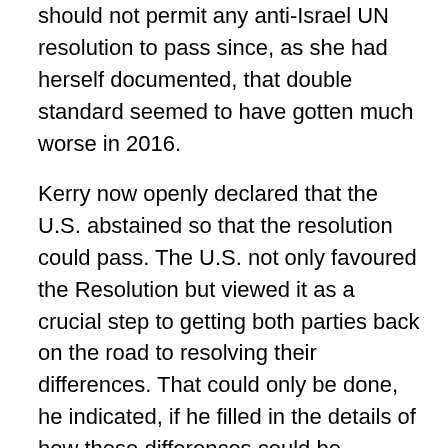should not permit any anti-Israel UN resolution to pass since, as she had herself documented, that double standard seemed to have gotten much worse in 2016.
Kerry now openly declared that the U.S. abstained so that the resolution could pass. The U.S. not only favoured the Resolution but viewed it as a crucial step to getting both parties back on the road to resolving their differences. That could only be done, he indicated, if he filled in the details of how those differences could be resolved. And he was propelled to do that because vital American interests and values were at stake. Further, those values now made it imperative that the U.S. stand aside and allow the Resolution to pass. He could not allow a “dangerous dynamic to take hold.” Now? Suddenly? Had not the trends in settlement policies by the Israelis been even worse in the past?